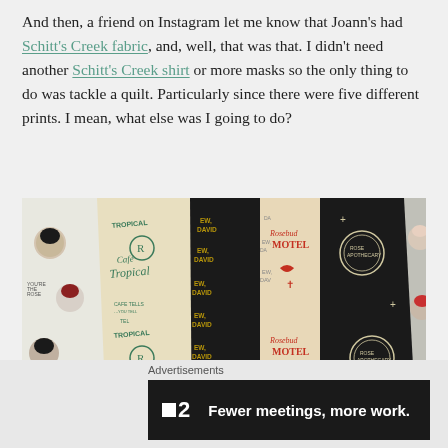And then, a friend on Instagram let me know that Joann's had Schitt's Creek fabric, and, well, that was that. I didn't need another Schitt's Creek shirt or more masks so the only thing to do was tackle a quilt. Particularly since there were five different prints. I mean, what else was I going to do?
[Figure (photo): Five strips of Schitt's Creek themed fabric laid diagonally, showing different prints: character faces on white/grey backgrounds, green Cafe Tropical print on cream, black 'Ew, David' text on black, cream/peach Rosebud Motel print in red text, and black apothecary circular logo print.]
Advertisements
[Figure (screenshot): Dark advertisement banner for a product called '2' with logo showing two squares and the text 'Fewer meetings, more work.' in bold white on dark background.]